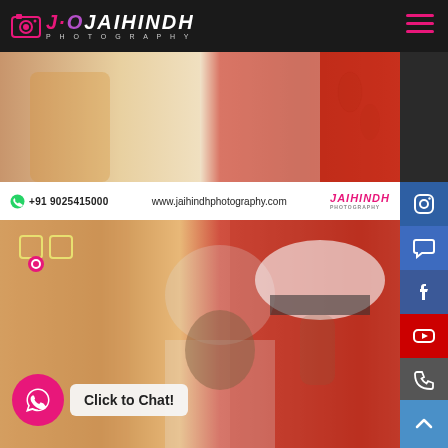[Figure (logo): Jaihindh Photography logo with camera icon, white and pink text on dark background, hamburger menu icon in pink on right]
[Figure (photo): Top portion of photo showing two people in light colored clothing with orange/red curtain background]
+91 9025415000   www.jaihindhphotography.com   JAIHINDH PHOTOGRAPHY
[Figure (photo): Main large photo of a young man in navy/military white uniform putting on a white officer's cap, with red/orange curtain background. Jaihindh Photography logo overlay in top left corner.]
[Figure (logo): Jaihindh Photography small logo overlay on main photo]
[Figure (infographic): Right sidebar with social media icons: Instagram (blue), Chat (blue), Facebook (blue), YouTube (red), Phone (grey)]
Click to Chat!
[Figure (infographic): WhatsApp pink circle button with chat icon and 'Click to Chat!' label, scroll-to-top blue arrow button]